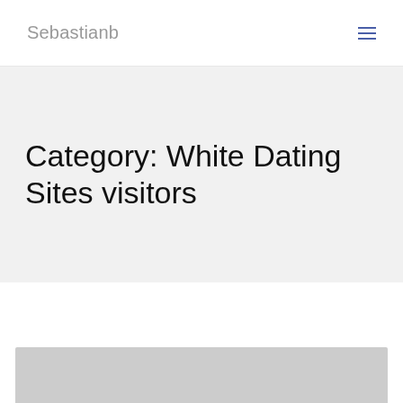Sebastianb
Category: White Dating Sites visitors
[Figure (photo): Gray placeholder image area at the bottom of the page]